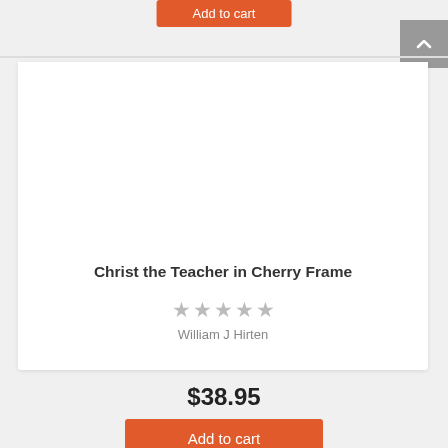[Figure (screenshot): Orange 'Add to cart' button partially visible at the top of the page]
[Figure (screenshot): Product card for 'Christ the Teacher in Cherry Frame' showing blank image area, product title, 5 empty star rating, and author William J Hirten]
Christ the Teacher in Cherry Frame
William J Hirten
$38.95
Add to cart